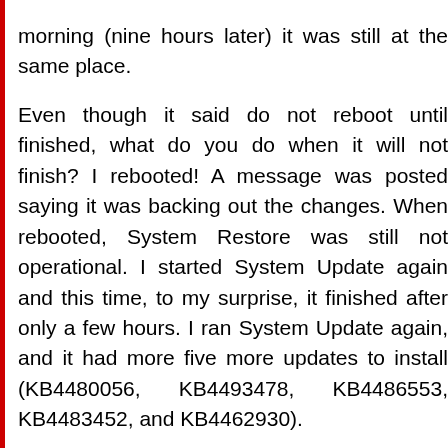morning (nine hours later) it was still at the same place.

Even though it said do not reboot until finished, what do you do when it will not finish? I rebooted! A message was posted saying it was backing out the changes. When rebooted, System Restore was still not operational. I started System Update again and this time, to my surprise, it finished after only a few hours. I ran System Update again, and it had more five more updates to install (KB4480056, KB4493478, KB4486553, KB4483452, and KB4462930).